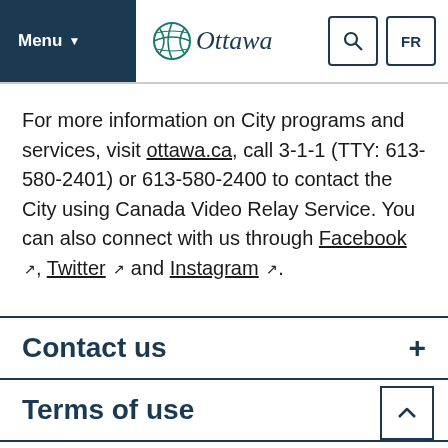Menu | Ottawa | Search | FR
For more information on City programs and services, visit ottawa.ca, call 3-1-1 (TTY: 613-580-2401) or 613-580-2400 to contact the City using Canada Video Relay Service. You can also connect with us through Facebook, Twitter and Instagram.
Contact us
Terms of use
Follow us